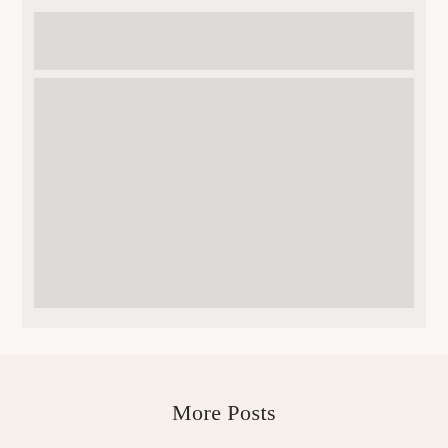[Figure (photo): Top image placeholder — light gray rectangle]
[Figure (photo): Large image placeholder — light gray rectangle]
More Posts